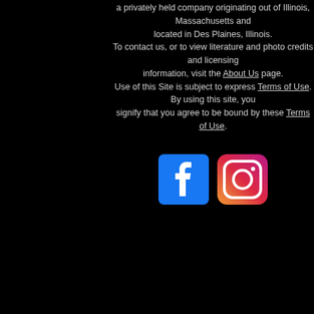a privately held company originating out of Illinois, Massachusetts and located in Des Plaines, Illinois. To contact us, or to view literature and photo credits and licensing information, visit the About Us page. Use of this Site is subject to express Terms of Use. By using this site, you signify that you agree to be bound by these Terms of Use.
[Figure (logo): Facebook and Instagram social media icons side by side]